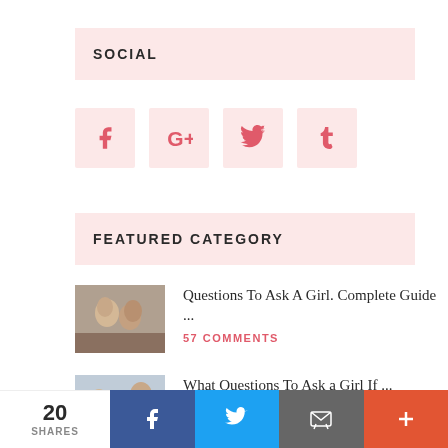SOCIAL
[Figure (infographic): Four social media icon buttons (Facebook, Google+, Twitter, Tumblr) in pink square boxes]
FEATURED CATEGORY
[Figure (photo): Couple lying down together outdoors, photo thumbnail for article]
Questions To Ask A Girl. Complete Guide ...
57 COMMENTS
[Figure (photo): Two people in an interview or conversation setting, photo thumbnail for article]
What Questions To Ask a Girl If ...
20 SHARES
[Figure (infographic): Share bar at bottom with Facebook, Twitter, Email, and Plus buttons]